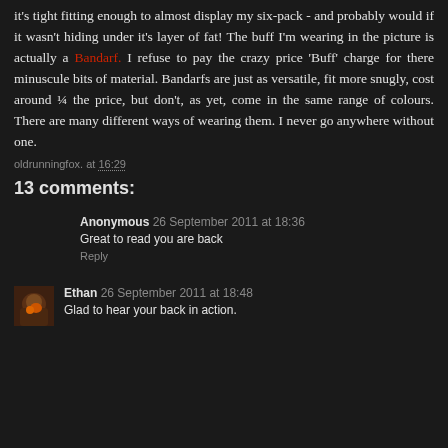it's tight fitting enough to almost display my six-pack - and probably would if it wasn't hiding under it's layer of fat! The buff I'm wearing in the picture is actually a Bandarf. I refuse to pay the crazy price 'Buff' charge for there minuscule bits of material. Bandarfs are just as versatile, fit more snugly, cost around ¼ the price, but don't, as yet, come in the same range of colours. There are many different ways of wearing them. I never go anywhere without one.
oldrunningfox. at 16:29
13 comments:
Anonymous 26 September 2011 at 18:36
Great to read you are back
Reply
[Figure (photo): Small avatar photo of Ethan, showing a person outdoors with orange/red colors]
Ethan 26 September 2011 at 18:48
Glad to hear your back in action.